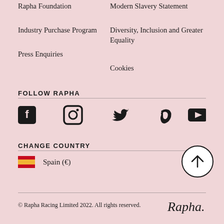Rapha Foundation
Industry Purchase Program
Press Enquiries
Modern Slavery Statement
Diversity, Inclusion and Greater Equality
Cookies
FOLLOW RAPHA
[Figure (infographic): Social media icons: Facebook, Instagram, Twitter, Vimeo, YouTube]
CHANGE COUNTRY
Spain (€)
© Rapha Racing Limited 2022. All rights reserved.
[Figure (logo): Rapha script logo]